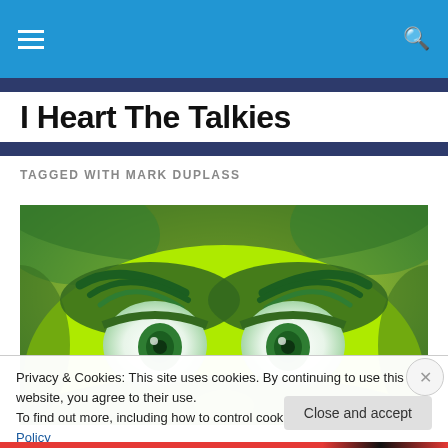I Heart The Talkies — navigation bar with hamburger menu and search icon
I Heart The Talkies
TAGGED WITH MARK DUPLASS
[Figure (photo): Close-up of the animated Grinch character with bright yellow-green fur and menacing green eyes, from the 2018 animated film The Grinch.]
Privacy & Cookies: This site uses cookies. By continuing to use this website, you agree to their use.
To find out more, including how to control cookies, see here: Cookie Policy
Close and accept